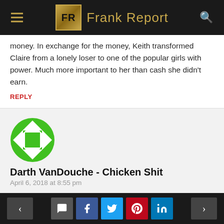FR Frank Report
money. In exchange for the money, Keith transformed Claire from a lonely loser to one of the popular girls with power. Much more important to her than cash she didn't earn.
REPLY
[Figure (illustration): Green and white circular avatar icon with diamond/square shape in center]
Darth VanDouche - Chicken Shit
April 6, 2018 at 8:55 pm
If by “transformed”, you mean he knew how much money she had and so he “transformed”
< [comment] [f] [twitter] [pinterest] [in] >